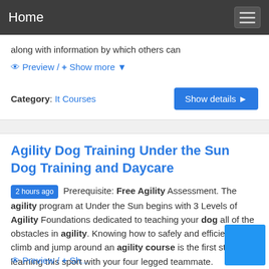Home
along with information by which others can
Preview / + Show more
Category: It Courses
Agility Dog Training Under the Sun Dog Training and Daycare
2 hours ago Prerequisite: Free Agility Assessment. The agility program at Under the Sun begins with 3 Levels of Agility Foundations dedicated to teaching your dog all of the obstacles in agility. Knowing how to safely and efficiently run, climb and jump around an agility course is the first step in learning this sport with your four legged teammate.